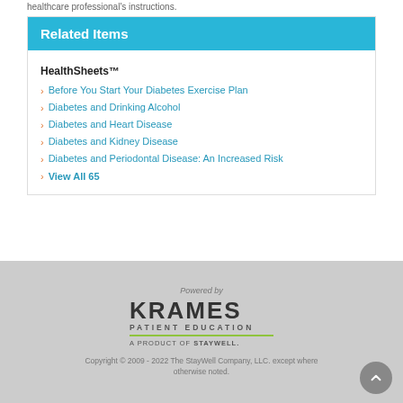healthcare professional's instructions.
Related Items
HealthSheets™
Before You Start Your Diabetes Exercise Plan
Diabetes and Drinking Alcohol
Diabetes and Heart Disease
Diabetes and Kidney Disease
Diabetes and Periodontal Disease: An Increased Risk
View All 65
Powered by KRAMES PATIENT EDUCATION A PRODUCT OF STAYWELL. Copyright © 2009 - 2022 The StayWell Company, LLC. except where otherwise noted.